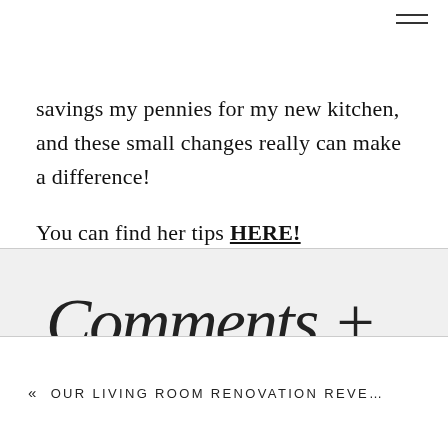savings my pennies for my new kitchen, and these small changes really can make a difference!

You can find her tips HERE!
[Figure (illustration): Handwritten cursive script reading 'Comments +' on a light grey background]
« OUR LIVING ROOM RENOVATION REVE…